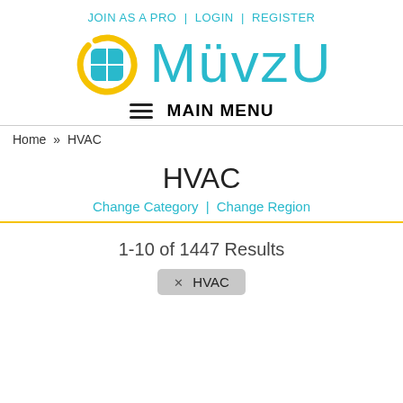JOIN AS A PRO | LOGIN | REGISTER
[Figure (logo): MüvzU logo with yellow circle arc and blue grid icon, teal text 'MüvzU']
≡ MAIN MENU
Home » HVAC
HVAC
Change Category | Change Region
1-10 of 1447 Results
✕ HVAC